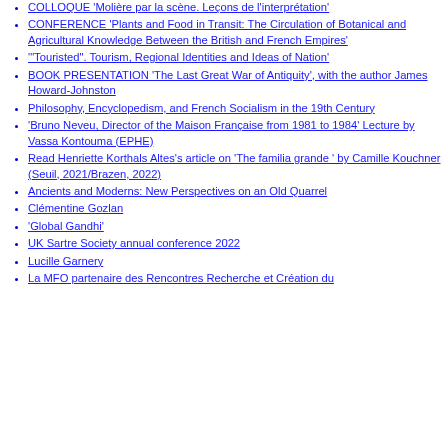COLLOQUE 'Molière par la scène. Leçons de l'interprétation'
CONFERENCE 'Plants and Food in Transit: The Circulation of Botanical and Agricultural Knowledge Between the British and French Empires'
'"Touristed". Tourism, Regional Identities and Ideas of Nation'
BOOK PRESENTATION 'The Last Great War of Antiquity', with the author James Howard-Johnston
Philosophy, Encyclopedism, and French Socialism in the 19th Century
'Bruno Neveu, Director of the Maison Française from 1981 to 1984' Lecture by Vassa Kontouma (EPHE)
Read Henriette Korthals Altes's article on 'The familia grande ' by Camille Kouchner (Seuil, 2021/Brazen, 2022)
Ancients and Moderns: New Perspectives on an Old Quarrel
Clémentine Gozlan
'Global Gandhi'
UK Sartre Society annual conference 2022
Lucille Garnery
La MFO partenaire des Rencontres Recherche et Création du